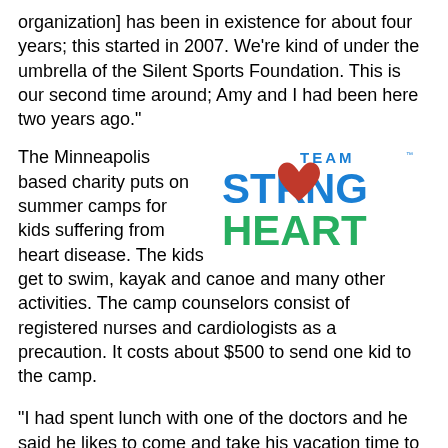organization] has been in existence for about four years; this started in 2007. We're kind of under the umbrella of the Silent Sports Foundation. This is our second time around; Amy and I had been here two years ago."
[Figure (logo): Team Strong Heart logo — blue bold text 'STRONG' with a red heart shape replacing the 'O', green bold text 'HEART' below, smaller blue 'TEAM' above, with a TM mark.]
The Minneapolis based charity puts on summer camps for kids suffering from heart disease. The kids get to swim, kayak and canoe and many other activities. The camp counselors consist of registered nurses and cardiologists as a precaution. It costs about $500 to send one kid to the camp.
"I had spent lunch with one of the doctors and he said he likes to come and take his vacation time to attend the summer camp, because he works with these kids when they're so critically ill in the hospital that he likes to come